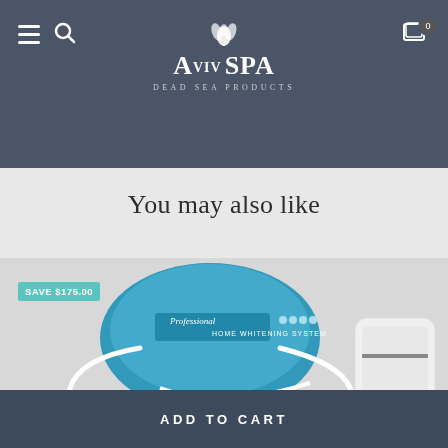Aviv Spa Dead Sea Products — navigation header with hamburger menu, search icon, logo, and cart icon (0 items)
You may also like
[Figure (photo): Product photo showing Professional Home Whitening System device in blue with white accessories/mouth trays, with a 'SAVE $175.00' badge in teal. A white device is partially visible on the right edge.]
ADD TO CART